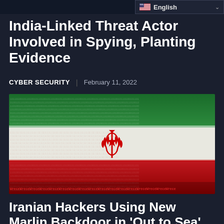English
India-Linked Threat Actor Involved in Spying, Planting Evidence
CYBER SECURITY | February 11, 2022
[Figure (photo): Iranian flag stylized with binary/code text overlay, showing green, white, and red stripes with the emblem of Iran in the center rendered in red code characters]
Iranian Hackers Using New Marlin Backdoor in 'Out to Sea' Espion...